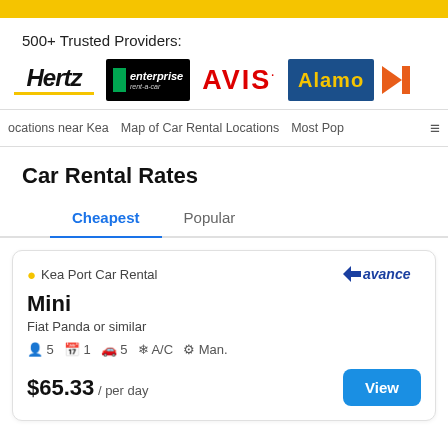500+ Trusted Providers:
[Figure (logo): Hertz, Enterprise, AVIS, Alamo, and partially visible B brand logos]
ocations near Kea   Map of Car Rental Locations   Most Pop
Car Rental Rates
Cheapest   Popular
Kea Port Car Rental
Mini
Fiat Panda or similar
5  1  5  A/C  Man.
$65.33 / per day